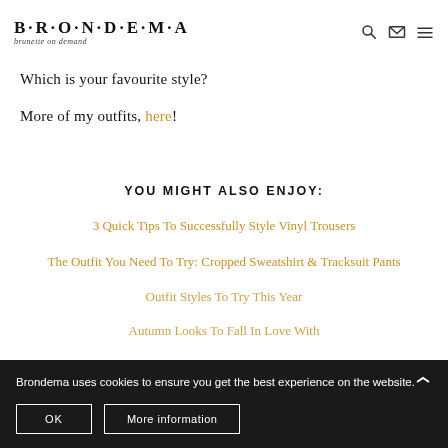BRONDEMA brunette on demand
Which is your favourite style?
More of my outfits, here!
YOU MIGHT ALSO ENJOY:
3 Quick Tips To Successfully Style Vinyl Trousers
The Outfit You Need To Try: Cropped Sweatshirt & Tracksuit Pants
Brondema uses cookies to ensure you get the best experience on the website.